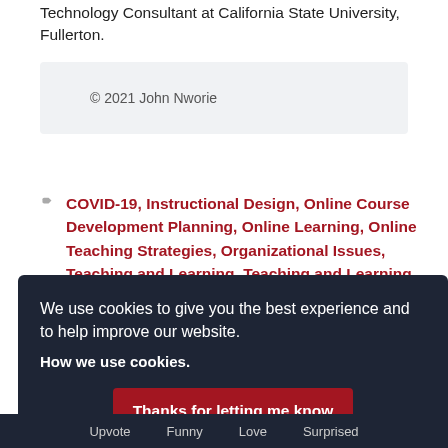Technology Consultant at California State University, Fullerton.
© 2021 John Nworie
COVID-19, Instructional Design, Online Course Development Planning, Online Learning, Online Teaching Strategies, Organizational Issues, Teaching and Learning, Teaching and Learning
We use cookies to give you the best experience and to help improve our website.
How we use cookies.
Thanks for letting me know
Upvote   Funny   Love   Surprised